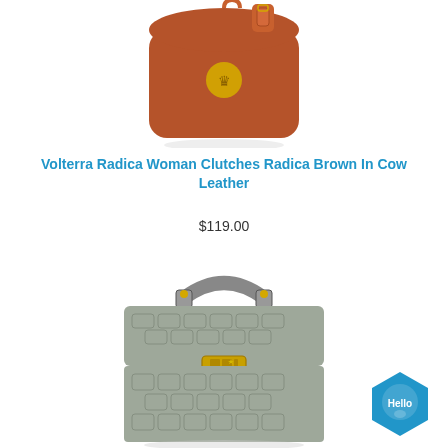[Figure (photo): Brown cow leather Radica clutch bag with gold crest logo and top strap closure]
Volterra Radica Woman Clutches Radica Brown In Cow Leather
$119.00
[Figure (photo): Grey crocodile-embossed structured handbag with single top handle and gold turn-lock clasp]
[Figure (other): Hello chat widget button — blue hexagon with speech bubble and 'Hello' text]